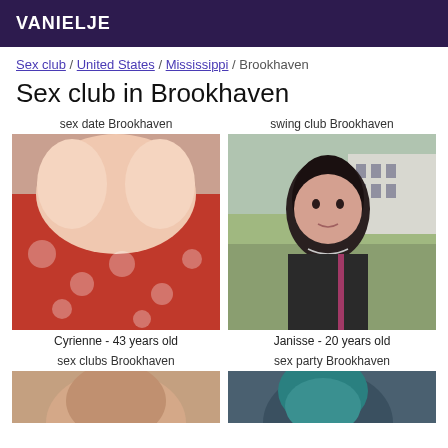VANIELJE
Sex club / United States / Mississippi / Brookhaven
Sex club in Brookhaven
sex date Brookhaven
[Figure (photo): Close-up photo of a woman in a red patterned top]
Cyrienne - 43 years old
swing club Brookhaven
[Figure (photo): Portrait of a young dark-haired woman outdoors near a building]
Janisse - 20 years old
sex clubs Brookhaven
[Figure (photo): Partial photo of a person, cropped at bottom]
sex party Brookhaven
[Figure (photo): Partial photo of a person with teal hair, cropped at bottom]